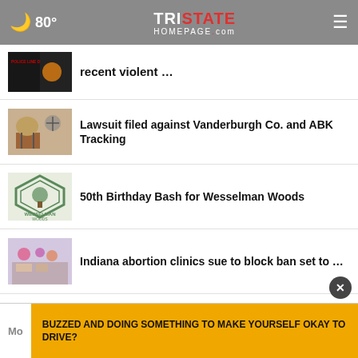80° — Tristate Homepage.com
recent violent …
Lawsuit filed against Vanderburgh Co. and ABK Tracking
50th Birthday Bash for Wesselman Woods
Indiana abortion clinics sue to block ban set to …
70-year-old perishes in rollover truck crash on SR63
BUZZED AND DOING SOMETHING TO MAKE YOURSELF OKAY TO DRIVE?